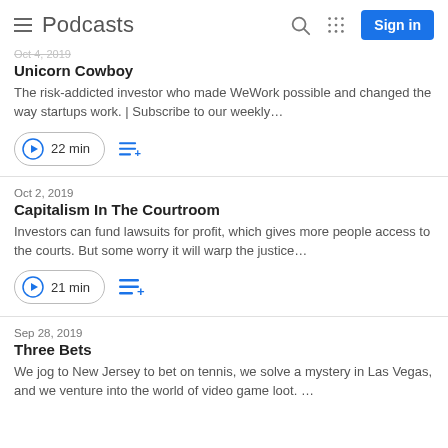Podcasts
Unicorn Cowboy
The risk-addicted investor who made WeWork possible and changed the way startups work. | Subscribe to our weekly…
22 min
Oct 2, 2019
Capitalism In The Courtroom
Investors can fund lawsuits for profit, which gives more people access to the courts. But some worry it will warp the justice…
21 min
Sep 28, 2019
Three Bets
We jog to New Jersey to bet on tennis, we solve a mystery in Las Vegas, and we venture into the world of video game loot. …